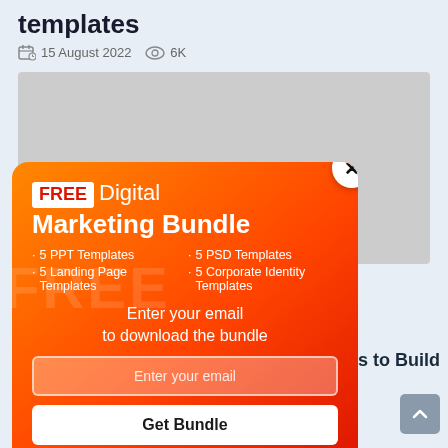templates
15 August 2022   6K
[Figure (screenshot): Gray placeholder image box for article content]
[Figure (infographic): Popup modal with orange-red gradient background. Shows FREE Digital Marketing Bundle offer. Lists: 5 PPT Templates, 5 PSD Templates, 5 Landing Page Templates, 5 Corporate Identity Templates. Has email input field and Get Bundle button. Close X button in top right corner.]
nplates to Build
[Figure (other): Gray scroll-to-top button with upward chevron arrow]